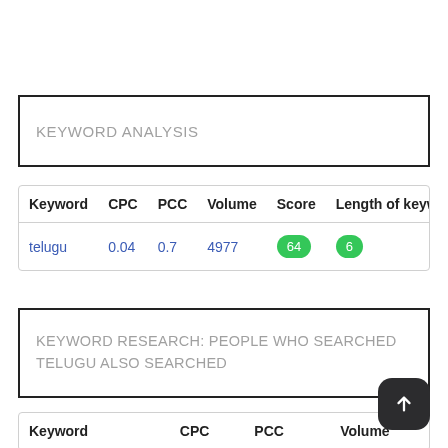KEYWORD ANALYSIS
| Keyword | CPC | PCC | Volume | Score | Length of keyw |
| --- | --- | --- | --- | --- | --- |
| telugu | 0.04 | 0.7 | 4977 | 64 | 6 |
KEYWORD RESEARCH: PEOPLE WHO SEARCHED TELUGU ALSO SEARCHED
| Keyword | CPC | PCC | Volume |  |
| --- | --- | --- | --- | --- |